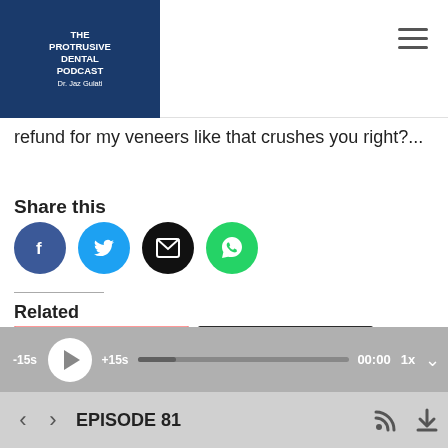[Figure (logo): The Protrusive Dental Podcast logo with Dr. Jaz Gulati]
refund for my veneers like that crushes you right?...
Share this
[Figure (infographic): Social share buttons: Facebook, Twitter, Email, WhatsApp]
Related
[Figure (photo): Composite Excellence thumbnail showing teeth]
[Figure (photo): Which Ceramic? 2022 thumbnail with Jaz Gulati and Ed McLaren]
EPISODE 81